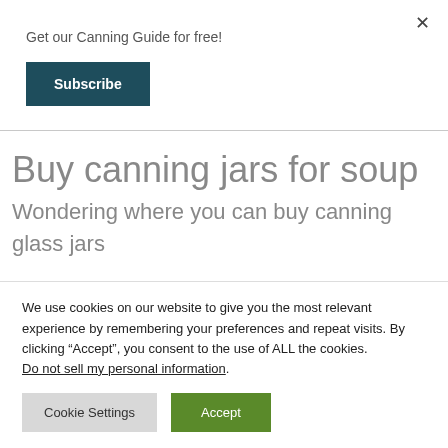Get our Canning Guide for free!
Subscribe
Buy canning jars for soup
Wondering where you can buy canning glass jars for soup? Look no further!
We use cookies on our website to give you the most relevant experience by remembering your preferences and repeat visits. By clicking “Accept”, you consent to the use of ALL the cookies.
Do not sell my personal information.
Cookie Settings
Accept